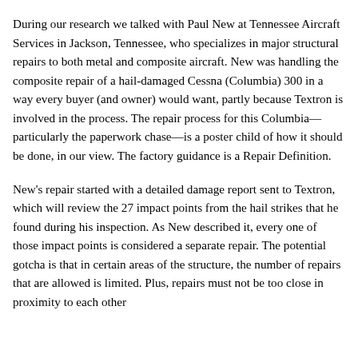During our research we talked with Paul New at Tennessee Aircraft Services in Jackson, Tennessee, who specializes in major structural repairs to both metal and composite aircraft. New was handling the composite repair of a hail-damaged Cessna (Columbia) 300 in a way every buyer (and owner) would want, partly because Textron is involved in the process. The repair process for this Columbia—particularly the paperwork chase—is a poster child of how it should be done, in our view. The factory guidance is a Repair Definition.
New's repair started with a detailed damage report sent to Textron, which will review the 27 impact points from the hail strikes that he found during his inspection. As New described it, every one of those impact points is considered a separate repair. The potential gotcha is that in certain areas of the structure, the number of repairs that are allowed is limited. Plus, repairs must not be too close in proximity to each other